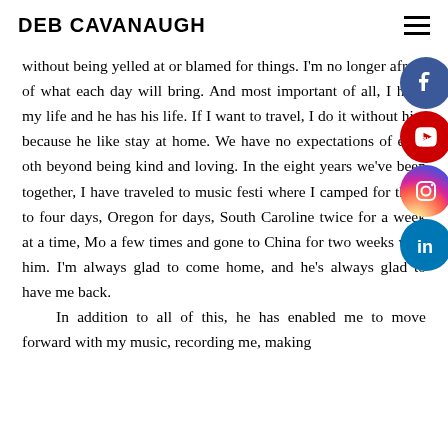DEB CAVANAUGH
without being yelled at or blamed for things. I'm no longer afraid of what each day will bring. And most important of all, I have my life and he has his life. If I want to travel, I do it without him because he likes to stay at home. We have no expectations of each other beyond being kind and loving. In the eight years we've been together, I have traveled to music festivals where I camped for three to four days, Oregon for days, South Caroline twice for a week at a time, Mo a few times and gone to China for two weeks without him. I'm always glad to come home, and he's always glad to have me back.
In addition to all of this, he has enabled me to move forward with my music, recording me, making